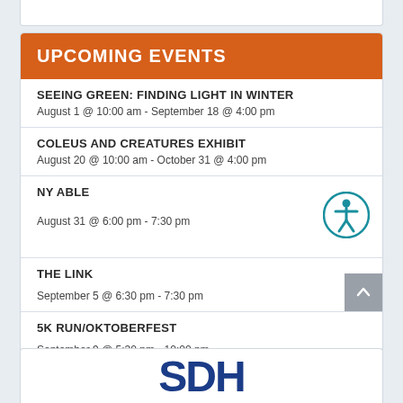UPCOMING EVENTS
SEEING GREEN: FINDING LIGHT IN WINTER
August 1 @ 10:00 am - September 18 @ 4:00 pm
COLEUS AND CREATURES EXHIBIT
August 20 @ 10:00 am - October 31 @ 4:00 pm
NY ABLE
August 31 @ 6:00 pm - 7:30 pm
THE LINK
September 5 @ 6:30 pm - 7:30 pm
5K RUN/OKTOBERFEST
September 9 @ 5:30 pm - 10:00 pm
View All Events
[Figure (logo): SDH logo in blue text]